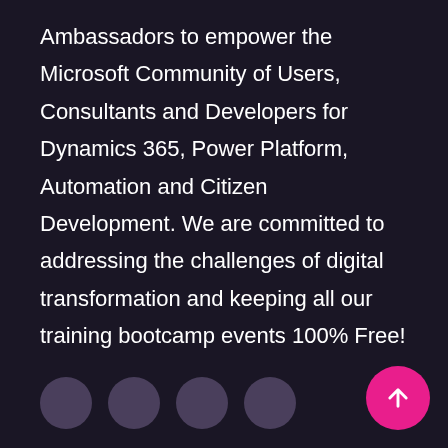Ambassadors to empower the Microsoft Community of Users, Consultants and Developers for Dynamics 365, Power Platform, Automation and Citizen Development. We are committed to addressing the challenges of digital transformation and keeping all our training bootcamp events 100% Free!
[Figure (other): Four circular social media / navigation icon buttons in a row, rendered as dark purple circles]
Community Conferences
Dynamics 365 Community
Automation Community
Power Platform Community